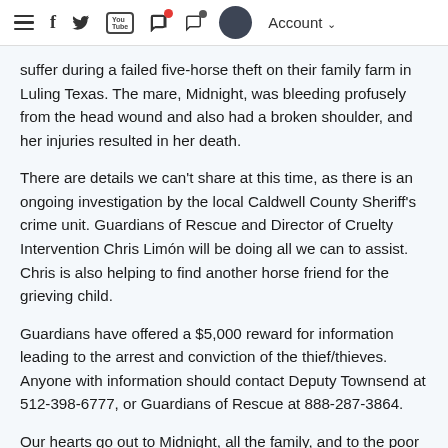Menu | Facebook | Twitter | YouTube | Cart | Chat | Account
suffer during a failed five-horse theft on their family farm in Luling Texas. The mare, Midnight, was bleeding profusely from the head wound and also had a broken shoulder, and her injuries resulted in her death.
There are details we can't share at this time, as there is an ongoing investigation by the local Caldwell County Sheriff's crime unit. Guardians of Rescue and Director of Cruelty Intervention Chris Limón will be doing all we can to assist. Chris is also helping to find another horse friend for the grieving child.
Guardians have offered a $5,000 reward for information leading to the arrest and conviction of the thief/thieves. Anyone with information should contact Deputy Townsend at 512-398-6777, or Guardians of Rescue at 888-287-3864.
Our hearts go out to Midnight, all the family, and to the poor child who had to get this terrible news about her best friend